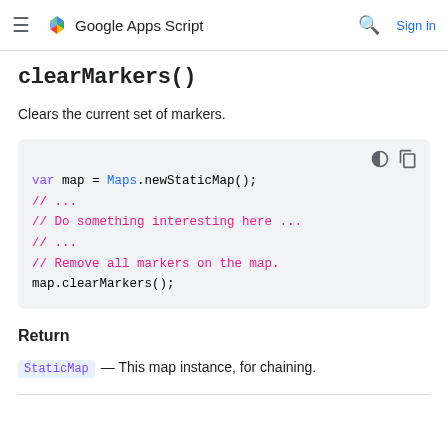Google Apps Script
clearMarkers()
Clears the current set of markers.
[Figure (screenshot): Code block showing: var map = Maps.newStaticMap(); // ... // Do something interesting here ... // ... // Remove all markers on the map. map.clearMarkers();]
Return
StaticMap — This map instance, for chaining.